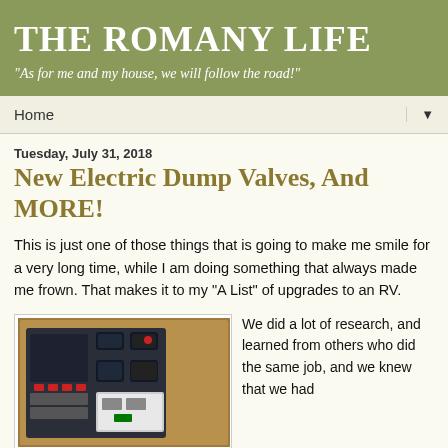THE ROMANY LIFE
"As for me and my house, we will follow the road!"
Home
Tuesday, July 31, 2018
New Electric Dump Valves, And MORE!
This is just one of those things that is going to make me smile for a very long time, while I am doing something that always made me frown. That makes it to my "A List" of upgrades to an RV.
[Figure (photo): A wooden cabinet open showing an RV electrical panel with switches, rocker controls, circuit breakers, and a dump tank control unit mounted on a dark metal panel.]
We did a lot of research, and learned from others who did the same job, and we knew that we had